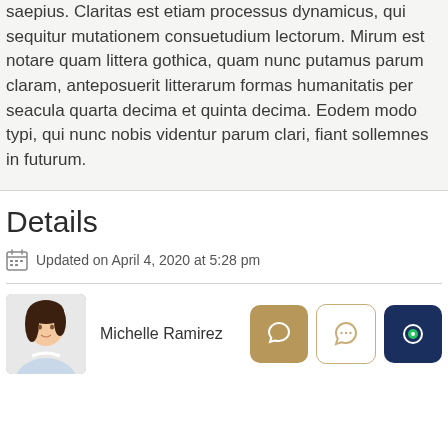saepius. Claritas est etiam processus dynamicus, qui sequitur mutationem consuetudium lectorum. Mirum est notare quam littera gothica, quam nunc putamus parum claram, anteposuerit litterarum formas humanitatis per seacula quarta decima et quinta decima. Eodem modo typi, qui nunc nobis videntur parum clari, fiant sollemnes in futurum.
Details
Updated on April 4, 2020 at 5:28 pm
Michelle Ramirez